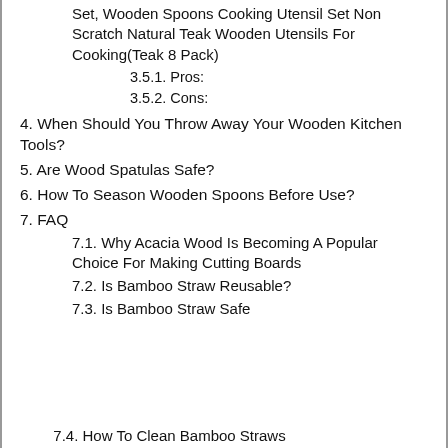Set, Wooden Spoons Cooking Utensil Set Non Scratch Natural Teak Wooden Utensils For Cooking(Teak 8 Pack)
3.5.1. Pros:
3.5.2. Cons:
4. When Should You Throw Away Your Wooden Kitchen Tools?
5. Are Wood Spatulas Safe?
6. How To Season Wooden Spoons Before Use?
7. FAQ
7.1. Why Acacia Wood Is Becoming A Popular Choice For Making Cutting Boards
7.2. Is Bamboo Straw Reusable?
7.3. Is Bamboo Straw Safe
7.4. How To Clean Bamboo Straws